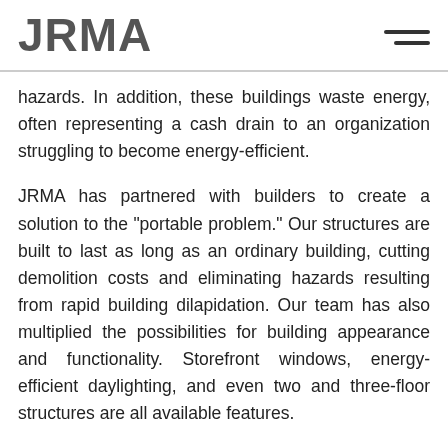JRMA
hazards. In addition, these buildings waste energy, often representing a cash drain to an organization struggling to become energy-efficient.
JRMA has partnered with builders to create a solution to the "portable problem." Our structures are built to last as long as an ordinary building, cutting demolition costs and eliminating hazards resulting from rapid building dilapidation. Our team has also multiplied the possibilities for building appearance and functionality. Storefront windows, energy-efficient daylighting, and even two and three-floor structures are all available features.